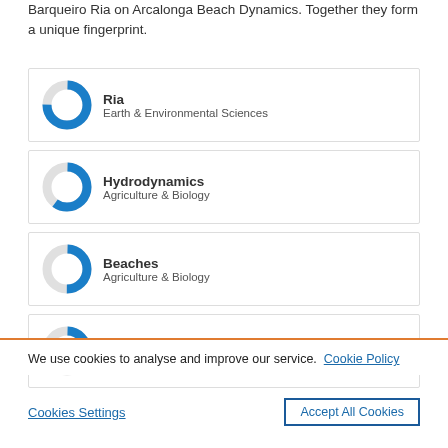Barqueiro Ria on Arcalonga Beach Dynamics. Together they form a unique fingerprint.
[Figure (donut-chart): Donut chart roughly 75% filled in blue for 'Ria' under Earth & Environmental Sciences]
Ria
Earth & Environmental Sciences
[Figure (donut-chart): Donut chart roughly 60% filled in blue for 'Hydrodynamics' under Agriculture & Biology]
Hydrodynamics
Agriculture & Biology
[Figure (donut-chart): Donut chart roughly 50% filled in blue for 'Beaches' under Agriculture & Biology]
Beaches
Agriculture & Biology
[Figure (donut-chart): Donut chart roughly 45% filled in blue for 'Beach' under Earth & Environmental Sciences]
Beach
Earth & Environmental Sciences
We use cookies to analyse and improve our service. Cookie Policy
Cookies Settings
Accept All Cookies